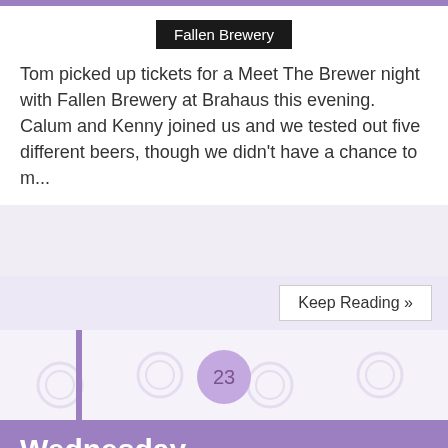[Figure (screenshot): Fallen Brewery image placeholder with black background and white text]
Tom picked up tickets for a Meet The Brewer night with Fallen Brewery at Brahaus this evening. Calum and Kenny joined us and we tested out five different beers, though we didn't have a chance to m...
Keep Reading »
23
Wednesday
[Figure (screenshot): Wednesday image placeholder with black background and white text]
I've been experimenting with City Of London Gin for Cocktail Hour this week and infused a batch of Lemon & Raspberry